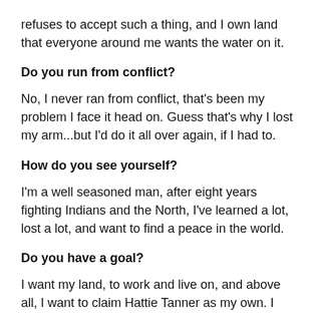refuses to accept such a thing, and I own land that everyone around me wants the water on it.
Do you run from conflict?
No, I never ran from conflict, that's been my problem I face it head on. Guess that's why I lost my arm...but I'd do it all over again, if I had to.
How do you see yourself?
I'm a well seasoned man, after eight years fighting Indians and the North, I've learned a lot, lost a lot, and want to find a peace in the world.
Do you have a goal?
I want my land, to work and live on, and above all, I want to claim Hattie Tanner as my own. I want to make a family